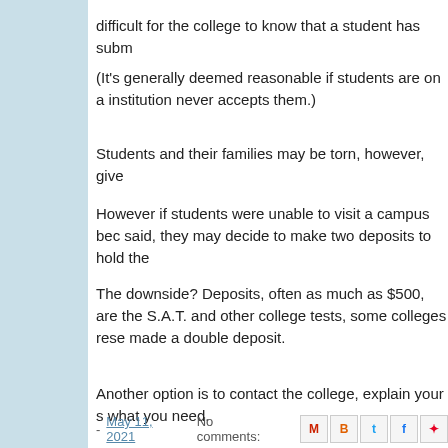difficult for the college to know that a student has subm
(It's generally deemed reasonable if students are on a institution never accepts them.)
Students and their families may be torn, however, give
However if students were unable to visit a campus bec said, they may decide to make two deposits to hold the
The downside? Deposits, often as much as $500, are the S.A.T. and other college tests, some colleges rese made a double deposit.
Another option is to contact the college, explain your s what you need.
- May 11, 2021   No comments:
Sunday, March 28, 2021